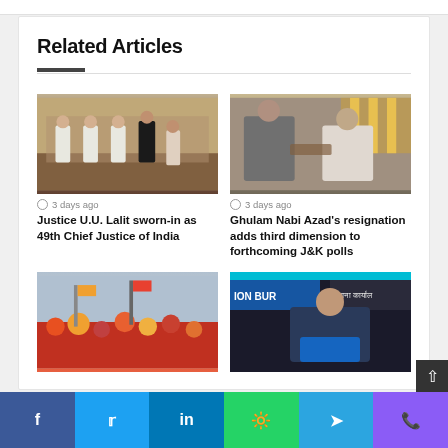Related Articles
[Figure (photo): Officials at a swearing-in ceremony with people in white uniforms]
3 days ago
Justice U.U. Lalit sworn-in as 49th Chief Justice of India
[Figure (photo): Two men greeting each other at an event with decorations in background]
3 days ago
Ghulam Nabi Azad's resignation adds third dimension to forthcoming J&K polls
[Figure (photo): Crowd scene with colorful figures]
[Figure (photo): Man speaking at a podium with ION BUR text and Hindi text visible]